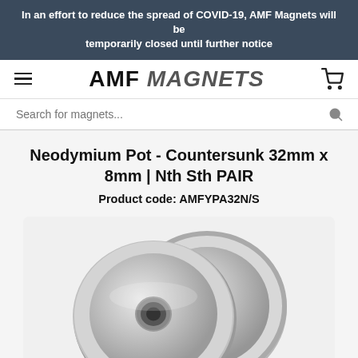In an effort to reduce the spread of COVID-19, AMF Magnets will be temporarily closed until further notice
AMF MAGNETS
Search for magnets...
Neodymium Pot - Countersunk 32mm x 8mm | Nth Sth PAIR
Product code: AMFYPA32N/S
[Figure (photo): Two silver/nickel-plated neodymium countersunk pot magnets viewed from above at an angle, showing the countersunk hole in the center of each disc-shaped magnet. The magnets are round and metallic, overlapping slightly.]